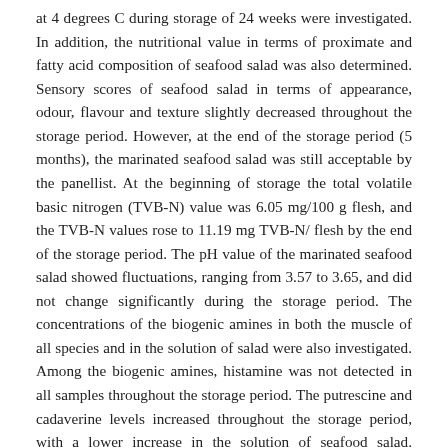at 4 degrees C during storage of 24 weeks were investigated. In addition, the nutritional value in terms of proximate and fatty acid composition of seafood salad was also determined. Sensory scores of seafood salad in terms of appearance, odour, flavour and texture slightly decreased throughout the storage period. However, at the end of the storage period (5 months), the marinated seafood salad was still acceptable by the panellist. At the beginning of storage the total volatile basic nitrogen (TVB-N) value was 6.05 mg/100 g flesh, and the TVB-N values rose to 11.19 mg TVB-N/ flesh by the end of the storage period. The pH value of the marinated seafood salad showed fluctuations, ranging from 3.57 to 3.65, and did not change significantly during the storage period. The concentrations of the biogenic amines in both the muscle of all species and in the solution of salad were also investigated. Among the biogenic amines, histamine was not detected in all samples throughout the storage period. The putrescine and cadaverine levels increased throughout the storage period, with a lower increase in the solution of seafood salad. Salmonella, coliform, Escherichia coli and Staphylococcus aureus were not detected while the total viable count remained low.